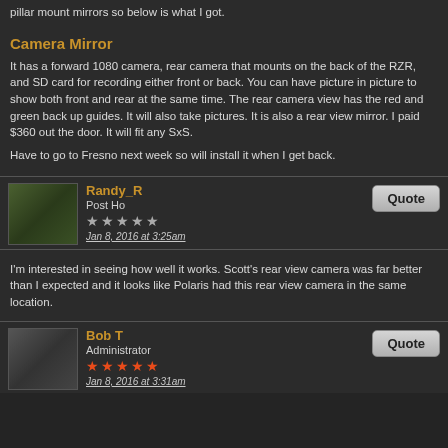pillar mount mirrors so below is what I got.
Camera Mirror
It has a forward 1080 camera, rear camera that mounts on the back of the RZR, and SD card for recording either front or back. You can have picture in picture to show both front and rear at the same time. The rear camera view has the red and green back up guides. It will also take pictures. It is also a rear view mirror. I paid $360 out the door. It will fit any SxS.
Have to go to Fresno next week so will install it when I get back.
Randy_R
Post Ho
Jan 8, 2016 at 3:25am
I'm interested in seeing how well it works. Scott's rear view camera was far better than I expected and it looks like Polaris had this rear view camera in the same location.
Bob T
Administrator
Jan 8, 2016 at 3:31am